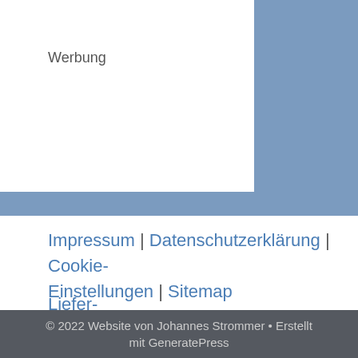Werbung
Impressum | Datenschutzerklärung | Cookie-Einstellungen | Sitemap
Liefer- & Zahlungsbedingungen | Widerrufsrecht | AGB
© 2022 Website von Johannes Strommer • Erstellt mit GeneratePress